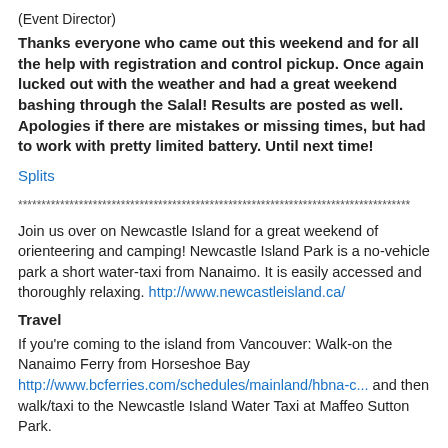(Event Director)
Thanks everyone who came out this weekend and for all the help with registration and control pickup. Once again lucked out with the weather and had a great weekend bashing through the Salal! Results are posted as well. Apologies if there are mistakes or missing times, but had to work with pretty limited battery. Until next time!
Splits
************************************************************************************
Join us over on Newcastle Island for a great weekend of orienteering and camping! Newcastle Island Park is a no-vehicle park a short water-taxi from Nanaimo. It is easily accessed and thoroughly relaxing. http://www.newcastleisland.ca/
Travel
If you're coming to the island from Vancouver: Walk-on the Nanaimo Ferry from Horseshoe Bay http://www.bcferries.com/schedules/mainland/hbna-c... and then walk/taxi to the Newcastle Island Water Taxi at Maffeo Sutton Park.